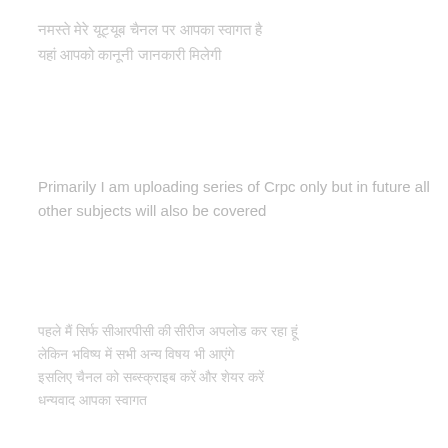[Hindi/Devanagari text block 1 - script characters in light gray]
Primarily I am uploading series of Crpc only but in future all other subjects will also be covered
[Hindi/Devanagari text block 3 - script characters in light gray]